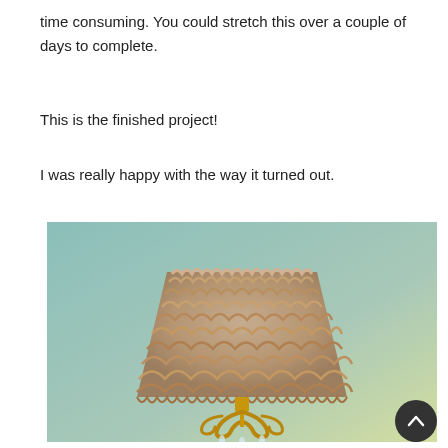time consuming. You could stretch this over a couple of days to complete.
This is the finished project!
I was really happy with the way it turned out.
[Figure (photo): A wall sconce lamp with a fluffy/furry lampshade in beige/taupe color, mounted on a teal/mint colored wall. The lamp base is ornate gold metal with crystal drops, and the shade is covered in shaggy faux fur material.]